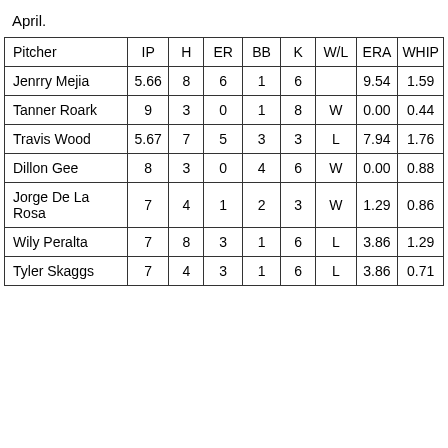April.
| Pitcher | IP | H | ER | BB | K | W/L | ERA | WHIP |
| --- | --- | --- | --- | --- | --- | --- | --- | --- |
| Jenrry Mejia | 5.66 | 8 | 6 | 1 | 6 |  | 9.54 | 1.59 |
| Tanner Roark | 9 | 3 | 0 | 1 | 8 | W | 0.00 | 0.44 |
| Travis Wood | 5.67 | 7 | 5 | 3 | 3 | L | 7.94 | 1.76 |
| Dillon Gee | 8 | 3 | 0 | 4 | 6 | W | 0.00 | 0.88 |
| Jorge De La Rosa | 7 | 4 | 1 | 2 | 3 | W | 1.29 | 0.86 |
| Wily Peralta | 7 | 8 | 3 | 1 | 6 | L | 3.86 | 1.29 |
| Tyler Skaggs | 7 | 4 | 3 | 1 | 6 | L | 3.86 | 0.71 |